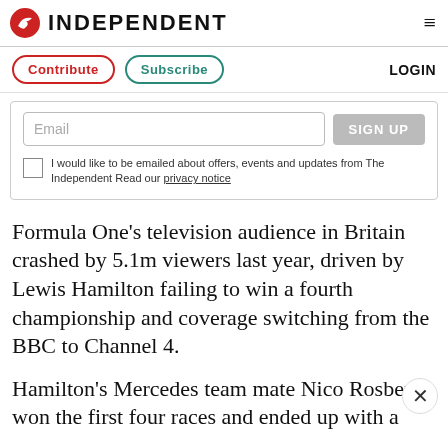INDEPENDENT
Contribute   Subscribe   LOGIN
Email   SIGN UP   I would like to be emailed about offers, events and updates from The Independent Read our privacy notice
Formula One's television audience in Britain crashed by 5.1m viewers last year, driven by Lewis Hamilton failing to win a fourth championship and coverage switching from the BBC to Channel 4.
Hamilton's Mercedes team mate Nico Rosberg won the first four races and ended up with a